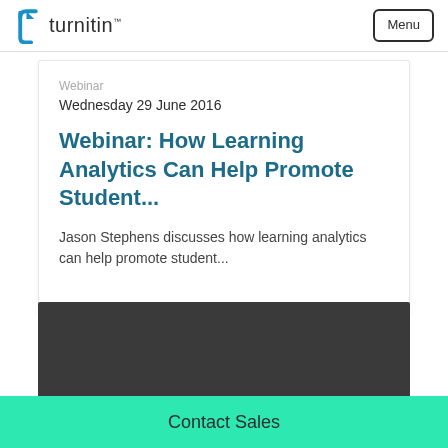turnitin | Menu
Webinar
Wednesday 29 June 2016
Webinar: How Learning Analytics Can Help Promote Student...
Jason Stephens discusses how learning analytics can help promote student...
[Figure (photo): Dark background image block at the bottom of the page]
Contact Sales